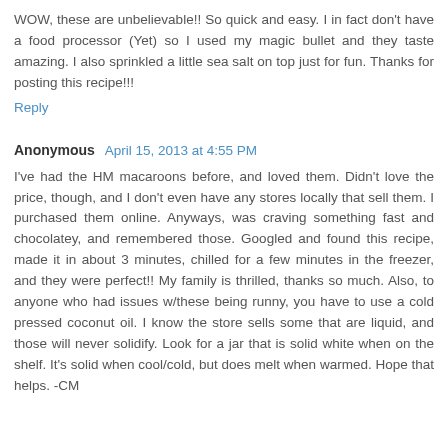WOW, these are unbelievable!! So quick and easy. I in fact don't have a food processor (Yet) so I used my magic bullet and they taste amazing. I also sprinkled a little sea salt on top just for fun. Thanks for posting this recipe!!!
Reply
Anonymous  April 15, 2013 at 4:55 PM
I've had the HM macaroons before, and loved them. Didn't love the price, though, and I don't even have any stores locally that sell them. I purchased them online. Anyways, was craving something fast and chocolatey, and remembered those. Googled and found this recipe, made it in about 3 minutes, chilled for a few minutes in the freezer, and they were perfect!! My family is thrilled, thanks so much. Also, to anyone who had issues w/these being runny, you have to use a cold pressed coconut oil. I know the store sells some that are liquid, and those will never solidify. Look for a jar that is solid white when on the shelf. It's solid when cool/cold, but does melt when warmed. Hope that helps. -CM